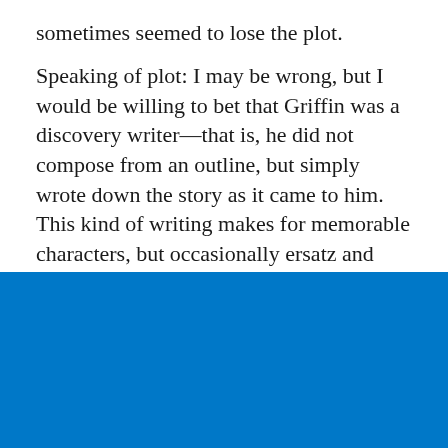sometimes seemed to lose the plot.

Speaking of plot: I may be wrong, but I would be willing to bet that Griffin was a discovery writer—that is, he did not compose from an outline, but simply wrote down the story as it came to him. This kind of writing makes for memorable characters, but occasionally ersatz and meandering plots.
[Figure (other): Solid blue rectangle filling the bottom portion of the page]